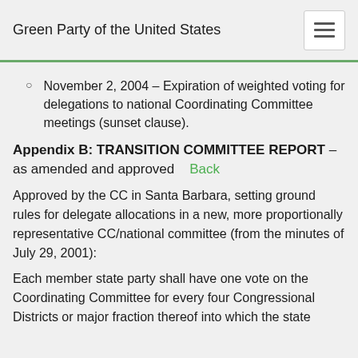Green Party of the United States
November 2, 2004 – Expiration of weighted voting for delegations to national Coordinating Committee meetings (sunset clause).
Appendix B: TRANSITION COMMITTEE REPORT – as amended and approved  Back
Approved by the CC in Santa Barbara, setting ground rules for delegate allocations in a new, more proportionally representative CC/national committee (from the minutes of July 29, 2001):
Each member state party shall have one vote on the Coordinating Committee for every four Congressional Districts or major fraction thereof into which the state